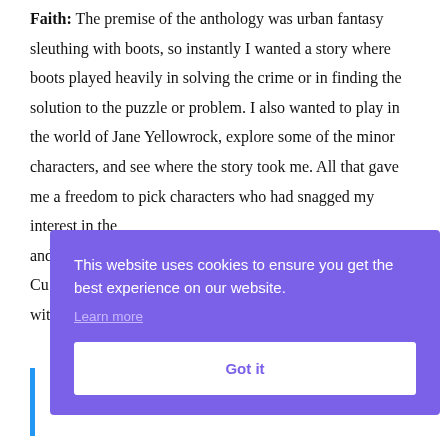Faith: The premise of the anthology was urban fantasy sleuthing with boots, so instantly I wanted a story where boots played heavily in solving the crime or in finding the solution to the puzzle or problem. I also wanted to play in the world of Jane Yellowrock, explore some of the minor characters, and see where the story took me. All that gave me a freedom to pick characters who had snagged my interest in the ... [text continues] and ... Cu... wit...
[Figure (other): Cookie consent banner overlay with purple background reading 'This website uses cookies to ensure you get the best experience on our website.' with a 'Learn more' link and a 'Got it' button.]